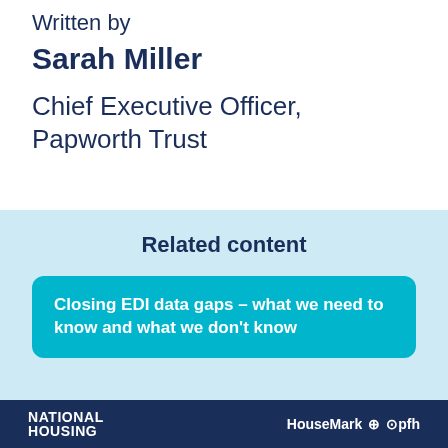Written by
Sarah Miller
Chief Executive Officer, Papworth Trust
Related content
Closing EDI data gaps – what we need to know and what we don't know
NATIONAL HOUSING HouseMark + pfh